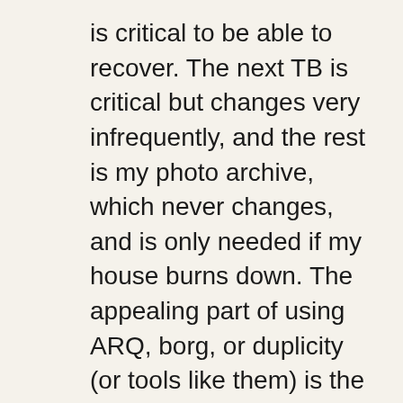is critical to be able to recover. The next TB is critical but changes very infrequently, and the rest is my photo archive, which never changes, and is only needed if my house burns down. The appealing part of using ARQ, borg, or duplicity (or tools like them) is the data can be tiered out and costed separately. Multiple versions for rapidly changing datasets in standard S3 buckets, and larger archives in either S3 Infrequent Access, S3 Glacier, or Backblaze B2 storage, as it costs far less, and my access pattern for that data is very